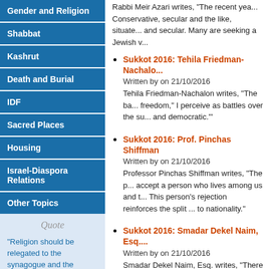Gender and Religion
Shabbat
Kashrut
Death and Burial
IDF
Sacred Places
Housing
Israel-Diaspora Relations
Other Topics
Quote
"Religion should be relegated to the synagogue and the homes of those families that want it; it should occupy a special position in the schools; but it shall not
Rabbi Meir Azari writes, "The recent years... Conservative, secular and the like, situate... and secular. Many are seeking a Jewish v...
Sukkot 2016: Tehila Friedman-Nachalon
Written by on 21/10/2016
Tehila Friedman-Nachalon writes, "The ba... freedom," I perceive as battles over the su... and democratic.'"
Sukkot 2016: Prof. Pinchas Shiffman
Written by on 21/10/2016
Professor Pinchas Shiffman writes, "The p... accept a person who lives among us and t... This person's rejection reinforces the split ... to nationality."
Sukkot 2016: Smadar Dekel Naim, Esq.
Written by on 21/10/2016
Smadar Dekel Naim, Esq. writes, "There is... coercion, especially at this most precious,... matters. Why should we hold non-egalitari... ways of life? Many of whom actually despi...